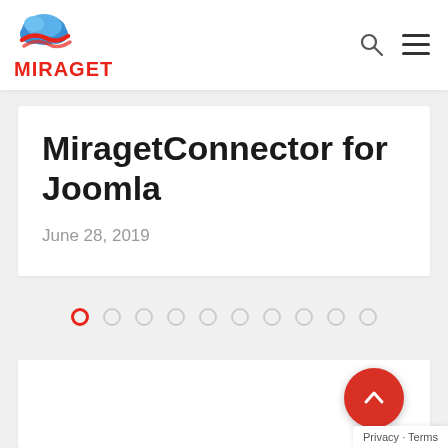[Figure (logo): Miraget logo: cloud icon in blue and red above the text MIRAGET in bold red letters]
MiragetConnector for Joomla
June 28, 2019
[Figure (other): Pagination dots row: first dot is active (red outline), followed by 9 empty grey dots]
[Figure (other): Scroll-to-top red circular button with chevron up arrow icon]